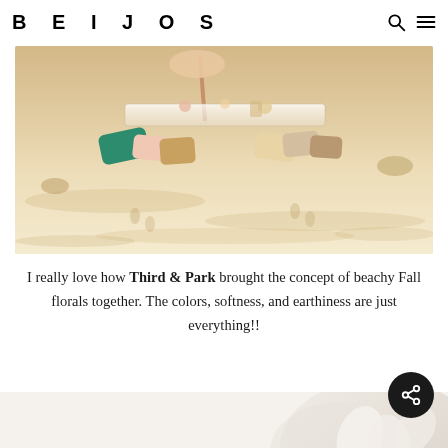BEIJOS
[Figure (photo): Aerial or angled view of a beach picnic setup on white sand, with a low table, colorful cushions/pillows in teal, pink, tan, and white, a pale umbrella, and table decorations. Sandy beach background.]
I really love how Third & Park brought the concept of beachy Fall florals together. The colors, softness, and earthiness are just everything!!
[Figure (photo): Partial view of a second photo at the bottom of the page, appears to show a light/white subject on a soft background, only slightly visible.]